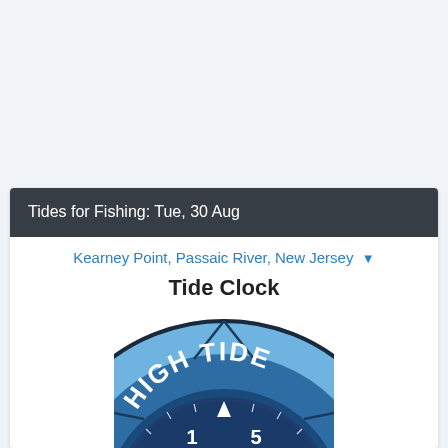Tides for Fishing: Tue, 30 Aug
Kearney Point, Passaic River, New Jersey
Tide Clock
[Figure (other): Tide clock dial showing HIGH TIDE label at top, with clock face displaying numbers 1, 2, 5 visible, a red clock hand, and a white triangle pointer at top center. The clock has concentric rings in various shades of blue.]